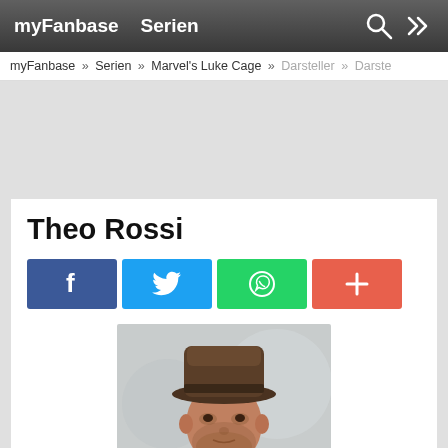myFanbase   Serien
myFanbase » Serien » Marvel's Luke Cage » Darsteller » Darste...
Theo Rossi
[Figure (infographic): Social sharing buttons: Facebook (blue), Twitter (light blue), WhatsApp (green), Plus/more (orange-red)]
[Figure (photo): Photo of Theo Rossi, a man wearing a brown fedora hat and dark clothing, looking slightly to the side]